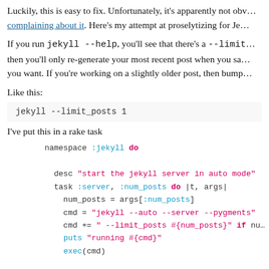Luckily, this is easy to fix. Unfortunately, it's apparently not obvious — people keep complaining about it. Here's my attempt at proselytizing for Jekyll's --limit_posts option: if you set --limit_posts 1 then you'll only re-generate your most recent post when you save. Set it to whatever you want. If you're working on a slightly older post, then bump up the number.
If you run jekyll --help, you'll see that there's a --limit_posts option. If you set --limit_posts 1 then you'll only re-generate your most recent post when you save. Set it to whatever you want. If you're working on a slightly older post, then bump up the number.
Like this:
jekyll --limit_posts 1
I've put this in a rake task
namespace :jekyll do
  desc "start the jekyll server in auto mode"
  task :server, :num_posts do |t, args|
    num_posts = args[:num_posts]
    cmd = "jekyll --auto --server --pygments"
    cmd += " --limit_posts #{num_posts}" if nu
    puts "running #{cmd}"
    exec(cmd)